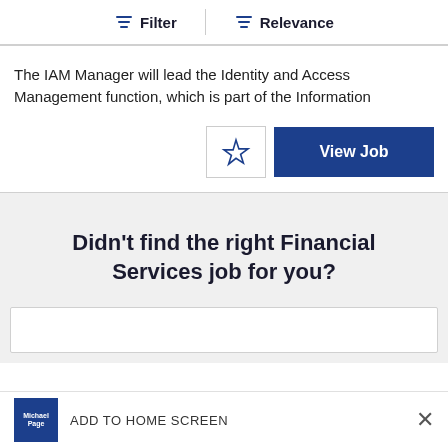Filter   Relevance
The IAM Manager will lead the Identity and Access Management function, which is part of the Information
View Job
Didn't find the right Financial Services job for you?
ADD TO HOME SCREEN